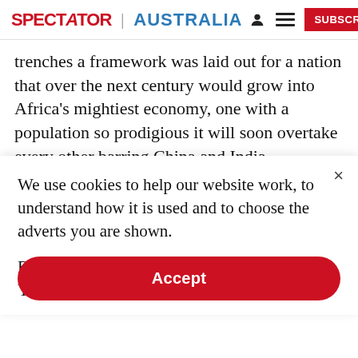SPECTATOR | AUSTRALIA
trenches a framework was laid out for a nation that over the next century would grow into Africa's mightiest economy, one with a population so prodigious it will soon overtake every other barring China and India.
The founding and legacy that were of the colony of
We use cookies to help our website work, to understand how it is used and to choose the adverts you are shown.
By clicking "Accept" you agree to us doing so. You can read more in our privacy policy.